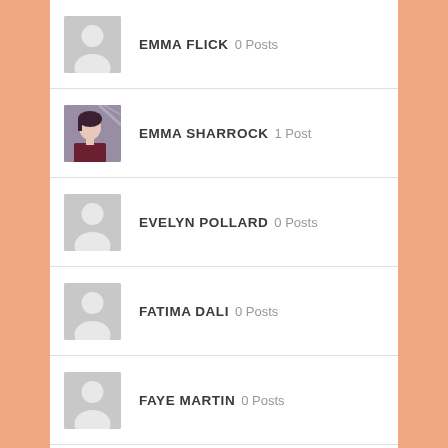EMMA FLICK 0 Posts
EMMA SHARROCK 1 Post
EVELYN POLLARD 0 Posts
FATIMA DALI 0 Posts
FAYE MARTIN 0 Posts
FELITA CORNOG 0 Posts